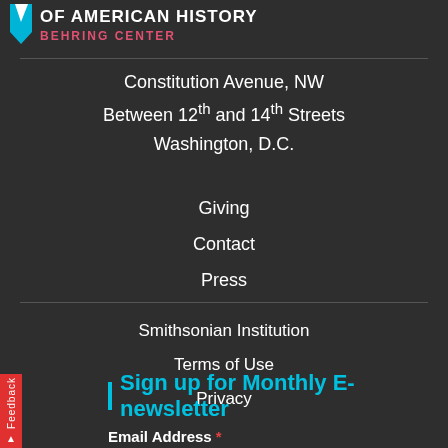[Figure (logo): National Museum of American History Behring Center logo with star/arrow icon in blue and text in white and red/pink]
Constitution Avenue, NW
Between 12th and 14th Streets
Washington, D.C.
Giving
Contact
Press
Smithsonian Institution
Terms of Use
Privacy
Sign up for Monthly E-newsletter
Email Address *